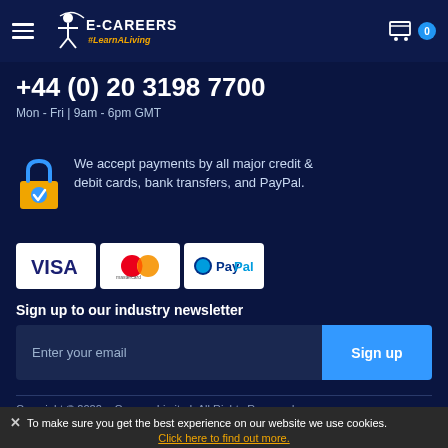E-Careers #LearnALiving
+44 (0) 20 3198 7700
Mon - Fri | 9am - 6pm GMT
We accept payments by all major credit & debit cards, bank transfers, and PayPal.
[Figure (logo): Visa, Mastercard, and PayPal payment logos on white backgrounds]
Sign up to our industry newsletter
Enter your email
Sign up
Copyright © 2022 e-Careers Limited. All Rights Reserved.
To make sure you get the best experience on our website we use cookies. Click here to find out more.